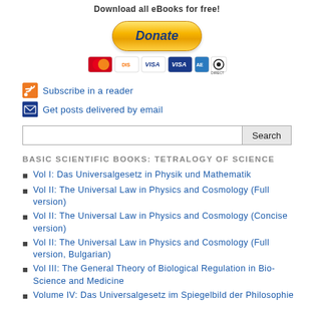Download all eBooks for free!
[Figure (other): PayPal Donate button with payment card icons (Mastercard, Discover, Visa, Visa, Amex, Direct Debit)]
Subscribe in a reader
Get posts delivered by email
BASIC SCIENTIFIC BOOKS: TETRALOGY OF SCIENCE
Vol I: Das Universalgesetz in Physik und Mathematik
Vol II: The Universal Law in Physics and Cosmology (Full version)
Vol II: The Universal Law in Physics and Cosmology (Concise version)
Vol II: The Universal Law in Physics and Cosmology (Full version, Bulgarian)
Vol III: The General Theory of Biological Regulation in Bio-Science and Medicine
Volume IV: Das Universalgesetz im Spiegelbild der Philosophie